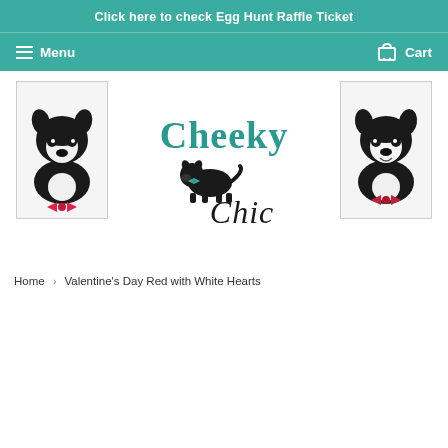Click here to check Egg Hunt Raffle Ticket
Menu  Cart
[Figure (logo): Cheeky Chic dog boutique logo with two Boston Terrier dog photos flanking the center logo]
Home › Valentine's Day Red with White Hearts